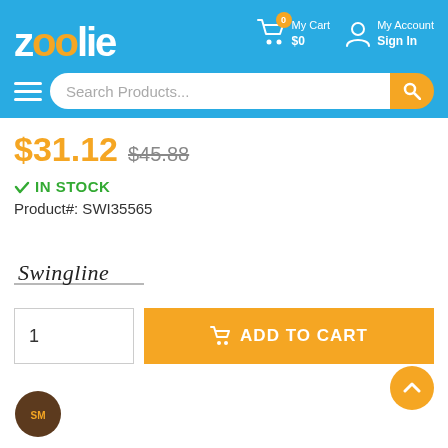[Figure (logo): Zoolie e-commerce site header with blue background, orange logo letters, cart icon with 0 badge, My Cart $0, My Account Sign In]
[Figure (screenshot): Search bar with hamburger menu, Search Products... placeholder, orange search button]
$31.12  $45.88
✓ IN STOCK
Product#: SWI35565
[Figure (logo): Swingline cursive brand logo]
1
ADD TO CART